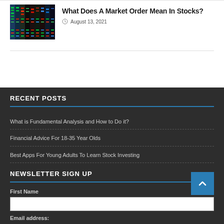[Figure (photo): Stock market ticker board showing colorful price data in green, red, and blue]
What Does A Market Order Mean In Stocks?
August 13, 2021
RECENT POSTS
What is Fundamental Analysis and How to Do it?
Financial Advice For 18-35 Year Olds
Best Apps For Young Adults To Learn Stock Investing
NEWSLETTER SIGN UP
First Name
Email address: